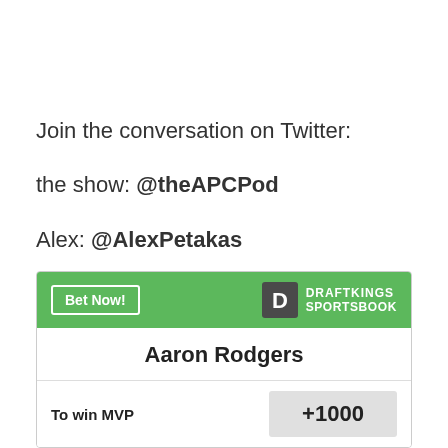Join the conversation on Twitter:
the show: @theAPCPod
Alex: @AlexPetakas
Zach: @ZachRapport
Ben: @BenFoldy
| Player | Bet | Odds |
| --- | --- | --- |
| Aaron Rodgers | To win MVP | +1000 |